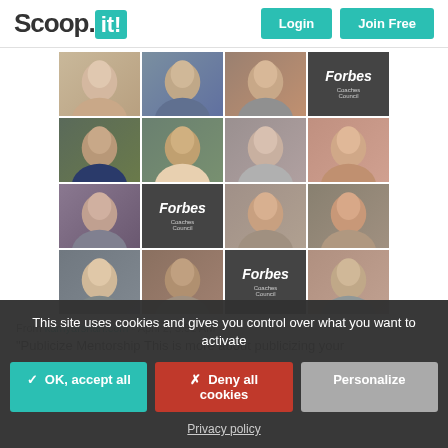[Figure (screenshot): Scoop.it website header with logo and Login/Join Free buttons]
[Figure (photo): Grid of 12 professional headshot photos and Forbes Coaches Council cards arranged in 4x3 layout]
From kamyarshah.com - April 2, 5:51 AM
"Publicize Mentorship This is more about publicizing your
This site uses cookies and gives you control over what you want to activate
✓ OK, accept all
✗ Deny all cookies
Personalize
Privacy policy